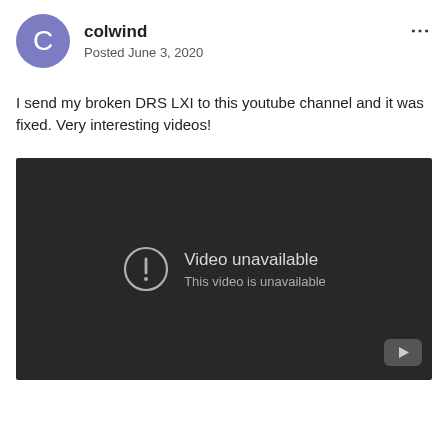colwind
Posted June 3, 2020
I send my broken DRS LXI to this youtube channel and it was fixed. Very interesting videos!
[Figure (screenshot): Embedded YouTube video player showing 'Video unavailable - This video is unavailable' message on a dark background, with a YouTube logo icon in the bottom right corner.]